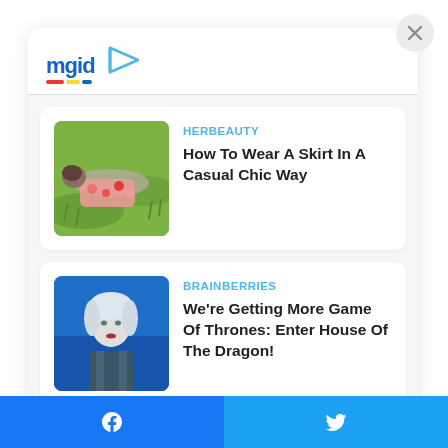[Figure (logo): mgid logo with colored underline bars and a play button icon]
HERBEAUTY
How To Wear A Skirt In A Casual Chic Way
[Figure (photo): Woman lying on grass wearing a floral pink skirt]
BRAINBERRIES
We're Getting More Game Of Thrones: Enter House Of The Dragon!
[Figure (photo): Woman with white/silver hair in fantasy costume, Game of Thrones style]
Facebook share button | Twitter share button